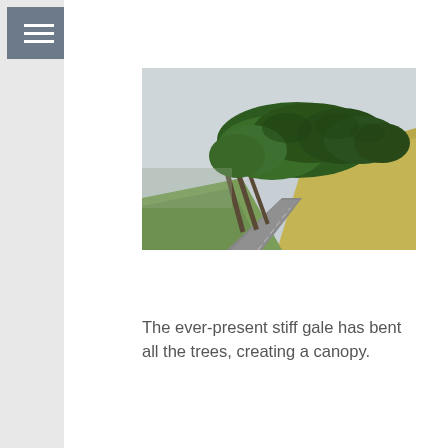[Figure (photo): Wind-bent cypress trees forming a canopy over a road on a hillside, overcast sky in background]
The ever-present stiff gale has bent all the trees, creating a canopy.